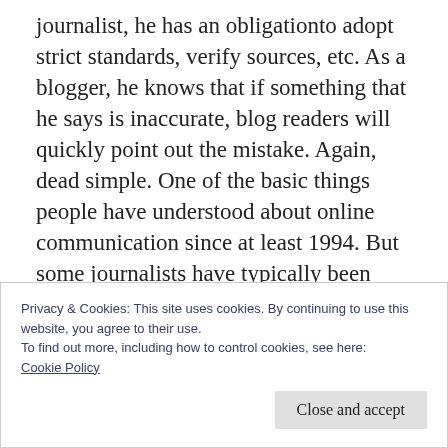journalist, he has an obligation to adopt strict standards, verify sources, etc. As a blogger, he knows that if something that he says is inaccurate, blog readers will quickly point out the mistake. Again, dead simple. One of the basic things people have understood about online communication since at least 1994. But some journalists have typically been slow to understand the implications, perhaps because it causes a sea change in their practise. So Scheidermann's comment was relatively
Privacy & Cookies: This site uses cookies. By continuing to use this website, you agree to their use.
To find out more, including how to control cookies, see here:
Cookie Policy